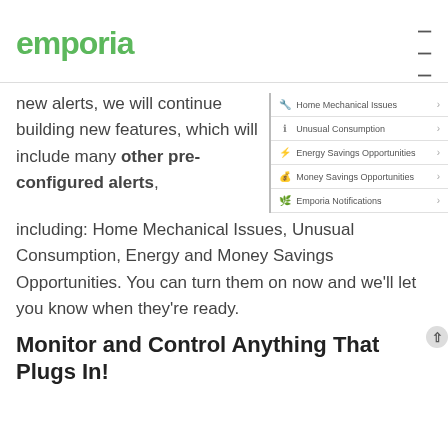emporia
new alerts, we will continue building new features, which will include many other pre-configured alerts, including: Home Mechanical Issues, Unusual Consumption, Energy and Money Savings Opportunities. You can turn them on now and we'll let you know when they're ready.
[Figure (screenshot): Mobile app menu showing alert categories: Home Mechanical Issues, Unusual Consumption, Energy Savings Opportunities, Money Savings Opportunities, Emporia Notifications — each with a right arrow chevron]
Monitor and Control Anything That Plugs In!